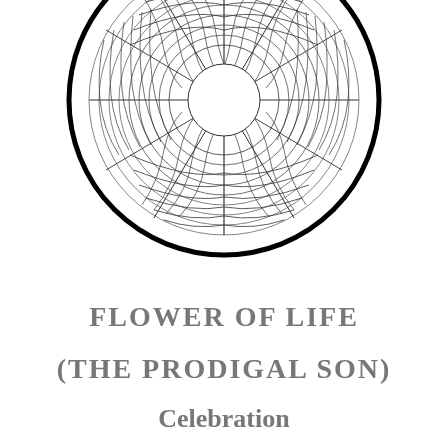[Figure (illustration): A circular illustration showing a flower of life / mandala-like pattern with intricate wavy line hatching forming petal and circular shapes within a bold circle border. Black and white ink drawing style.]
FLOWER OF LIFE
(THE PRODIGAL SON)
Celebration